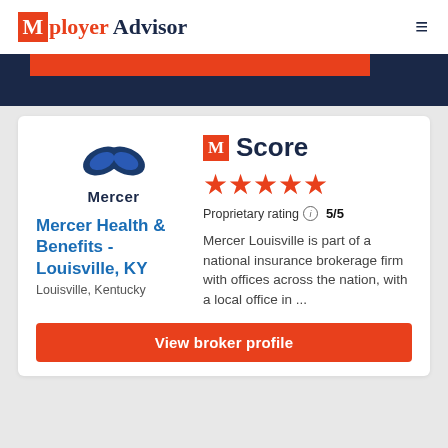Mployer Advisor
[Figure (logo): Mployer Advisor logo with orange M icon and navy blue text]
[Figure (illustration): Dark navy banner with orange bar overlay]
[Figure (logo): Mercer logo - blue ribbon/infinity icon with Mercer wordmark below]
M Score
[Figure (infographic): Five orange stars rating]
Proprietary rating 5/5
Mercer Health & Benefits - Louisville, KY
Louisville, Kentucky
Mercer Louisville is part of a national insurance brokerage firm with offices across the nation, with a local office in ...
View broker profile